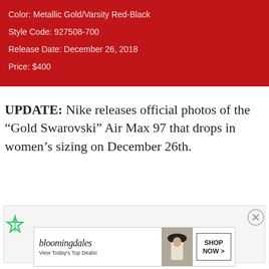Color: Metallic Gold/Varsity Red-Black
Style Code: 927508-700
Release Date: December 26, 2018
Price: $400
UPDATE: Nike releases official photos of the “Gold Swarovski” Air Max 97 that drops in women’s sizing on December 26th.
[Figure (other): Advertisement placeholder area with Freestar logo and close button]
[Figure (other): Bloomingdale's advertisement banner: 'bloomingdales View Today’s Top Deals!' with SHOP NOW button and woman in hat image]